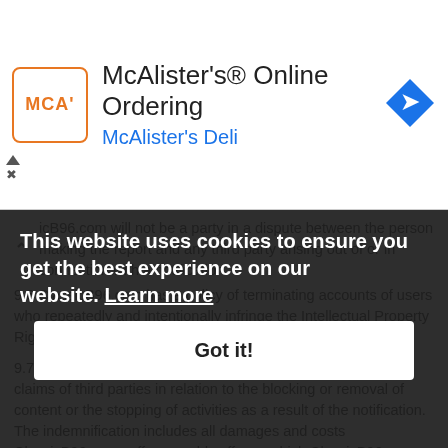[Figure (screenshot): McAlister's Online Ordering ad banner with logo, title, subtitle, and navigation icon]
icB96.com will not be a party in a dispute between the person making the report and any third party arising out of or in connection with a notification.
9.6 ClassicB96.com has a policy of terminating accounts of users who repeatedly and intentionally infringe the Intellectual Property Rights of others.
9.7 The notifying party indemnifies ClassicB96.com against all claims of third parties in relation to the blocking or removal of content or the stopping of activities as a result of the notification. The indemnification includes all damages and costs ClassicB96.com suffers, could suffer or which ClassicB96.com must incur in relation to such a claim, including but not limited to the compensation of legal assistance.
9.8 ClassicB96.com respects and protects the privacy of those who provide notifications. Any personal data that it receives as part of a notification will only be used to process the notice.
9.9 ClassicB96.com reserves the right to forward the notice to the users responsible for the content to which the notice refers.
This website uses cookies to ensure you get the best experience on our website. Learn more
Got it!